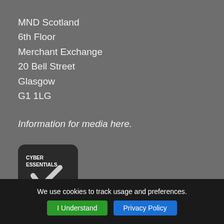MND Scotland
6th Floor
Merchant Exchange
20 Bell Street
Glasgow
G1 1LG
Information for media here.
[Figure (logo): Cyber Essentials badge: dark rounded square with 'CYBER ESSENTIALS' text and a checkmark]
We use cookies to track usage and preferences.
I Understand
Privacy Policy